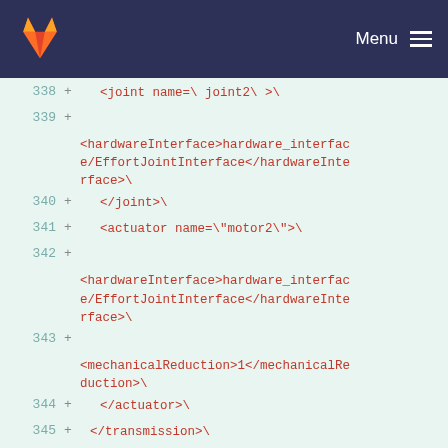GitLab logo | Menu
338  +      <joint name=\ joint2\ >\
339  +
        <hardwareInterface>hardware_interface/EffortJointInterface</hardwareInterface>\
340  +      </joint>\
341  +      <actuator name=\"motor2\">\
342  +
        <hardwareInterface>hardware_interface/EffortJointInterface</hardwareInterface>\
343  +
        <mechanicalReduction>1</mechanicalReduction>\
344  +      </actuator>\
345  +   </transmission>\
346  + </robot>\
347  + "
348  +
349  + #